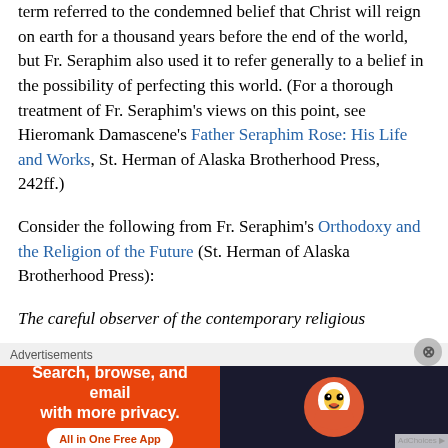term referred to the condemned belief that Christ will reign on earth for a thousand years before the end of the world, but Fr. Seraphim also used it to refer generally to a belief in the possibility of perfecting this world. (For a thorough treatment of Fr. Seraphim's views on this point, see Hieromank Damascene's Father Seraphim Rose: His Life and Works, St. Herman of Alaska Brotherhood Press, 242ff.)
Consider the following from Fr. Seraphim's Orthodoxy and the Religion of the Future (St. Herman of Alaska Brotherhood Press):
The careful observer of the contemporary religious
[Figure (other): DuckDuckGo advertisement banner: orange background with text 'Search, browse, and email with more privacy. All in One Free App' and DuckDuckGo duck logo on dark background. Labeled 'Advertisements' above.]